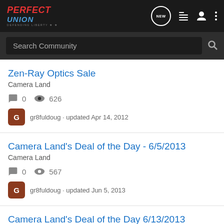Perfect Union - Defending Liberty
Search Community
Zen-Ray Optics Sale
Camera Land
0  626
gr8fuldoug · updated Apr 14, 2012
Camera Land's Deal of the Day - 6/5/2013
Camera Land
0  567
gr8fuldoug · updated Jun 5, 2013
Camera Land's Deal of the Day 6/13/2013